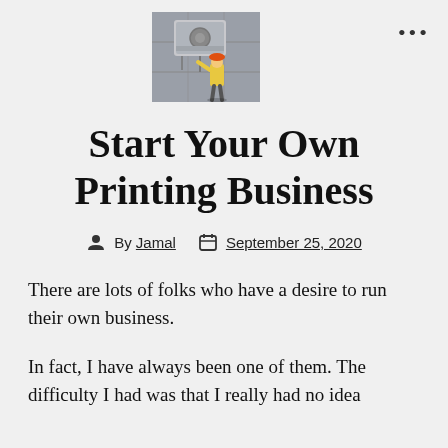[Figure (photo): A worker in a yellow vest and orange hard hat inspecting or working on an outdoor air conditioning unit mounted on a gray concrete wall.]
Start Your Own Printing Business
By Jamal   September 25, 2020
There are lots of folks who have a desire to run their own business.
In fact, I have always been one of them. The difficulty I had was that I really had no idea